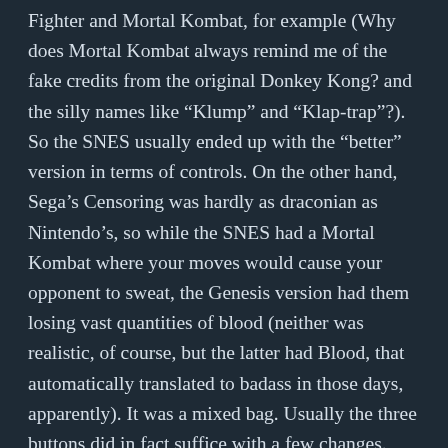Fighter and Mortal Kombat, for example (Why does Mortal Kombat always remind me of the fake credits from the original Donkey Kong? and the silly names like “Klump” and “Klap-trap”?). So the SNES usually ended up with the “better” version in terms of controls. On the other hand, Sega’s Censoring was hardly as draconian as Nintendo’s, so while the SNES had a Mortal Kombat where your moves would cause your opponent to sweat, the Genesis version had them losing vast quantities of blood (neither was realistic, of course, but the latter had Blood, that automatically translated to badass in those days, apparently). It was a mixed bag. Usually the three buttons did in fact suffice with a few changes. Sega released a 6-button controller that attempted to solve the “not